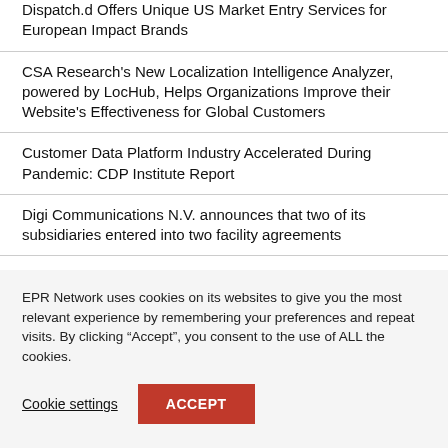Dispatch.d Offers Unique US Market Entry Services for European Impact Brands
CSA Research's New Localization Intelligence Analyzer, powered by LocHub, Helps Organizations Improve their Website's Effectiveness for Global Customers
Customer Data Platform Industry Accelerated During Pandemic: CDP Institute Report
Digi Communications N.V. announces that two of its subsidiaries entered into two facility agreements
Introducing Cap Expand Partners, Helping Business
EPR Network uses cookies on its websites to give you the most relevant experience by remembering your preferences and repeat visits. By clicking “Accept”, you consent to the use of ALL the cookies.
Cookie settings
ACCEPT